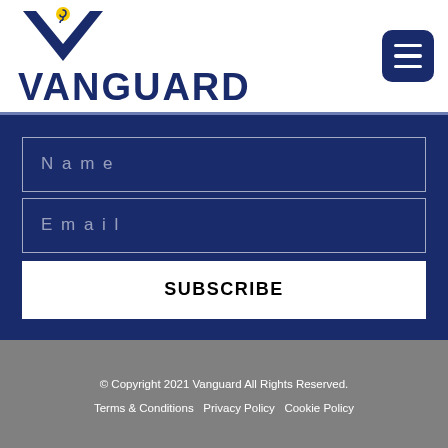[Figure (logo): Vanguard logo: dark navy V shape with yellow hook icon above, and VANGUARD text in large bold navy letters below]
[Figure (other): Hamburger menu button: dark navy rounded square with three white horizontal lines]
Name
Email
SUBSCRIBE
© Copyright 2021 Vanguard All Rights Reserved.
Terms & Conditions Privacy Policy Cookie Policy